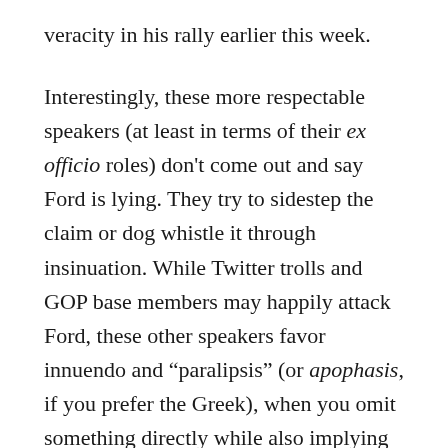veracity in his rally earlier this week.
Interestingly, these more respectable speakers (at least in terms of their ex officio roles) don't come out and say Ford is lying. They try to sidestep the claim or dog whistle it through insinuation. While Twitter trolls and GOP base members may happily attack Ford, these other speakers favor innuendo and “paralipsis” (or apophasis, if you prefer the Greek), when you omit something directly while also implying it. They are not saying that Ford is untrustworthy or lying outright, but they insinuate that she is by pointing to the charged political atmosphere (She is Democratic operative!), her trouble recalling certain details (She can’t even remember the date!), and other conspiracies and